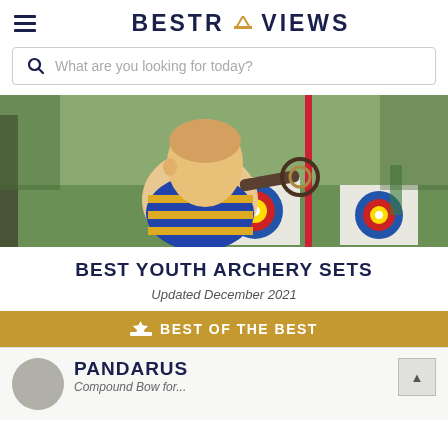BESTREVIEWS
What are you looking for today?
[Figure (photo): Young child with red/blonde hair aiming a compound bow at an archery range with colorful target boards in the background]
BEST YOUTH ARCHERY SETS
Updated December 2021
BEST OF THE BEST
PANDARUS
Compound Bow for...